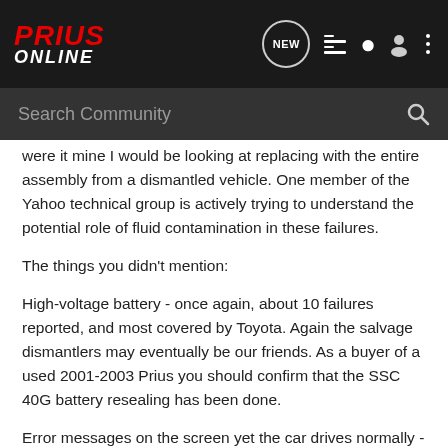Prius Online
Search Community
were it mine I would be looking at replacing with the entire assembly from a dismantled vehicle. One member of the Yahoo technical group is actively trying to understand the potential role of fluid contamination in these failures.
The things you didn't mention:
High-voltage battery - once again, about 10 failures reported, and most covered by Toyota. Again the salvage dismantlers may eventually be our friends. As a buyer of a used 2001-2003 Prius you should confirm that the SSC 40G battery resealing has been done.
Error messages on the screen yet the car drives normally - I believe this to be the most common issue with Prius of the era. Relates to technical service bulletin EG011-03, most often